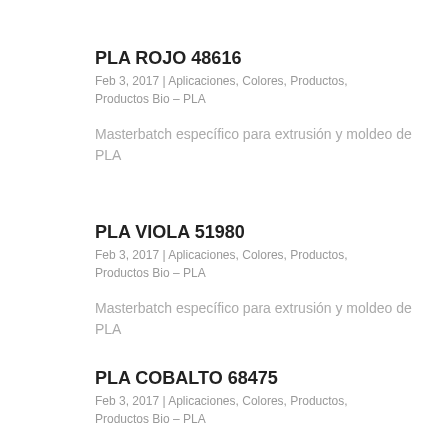PLA ROJO 48616
Feb 3, 2017 | Aplicaciones, Colores, Productos, Productos Bio – PLA
Masterbatch específico para extrusión y moldeo de PLA
PLA VIOLA 51980
Feb 3, 2017 | Aplicaciones, Colores, Productos, Productos Bio – PLA
Masterbatch específico para extrusión y moldeo de PLA
PLA COBALTO 68475
Feb 3, 2017 | Aplicaciones, Colores, Productos, Productos Bio – PLA